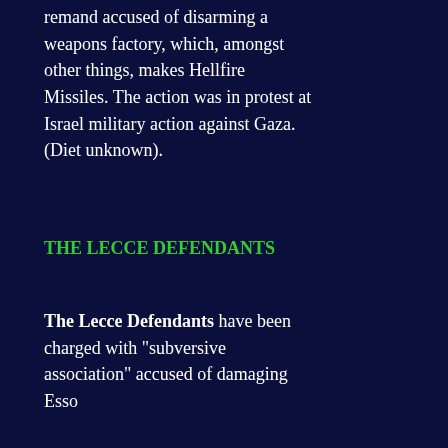remand accused of disarming a weapons factory, which, amongst other things, makes Hellfire Missiles. The action was in protest at Israel military action against Gaza. (Diet unknown).
THE LECCE DEFENDANTS
The Lecce Defendants have been charged with "subversive association" accused of damaging Esso